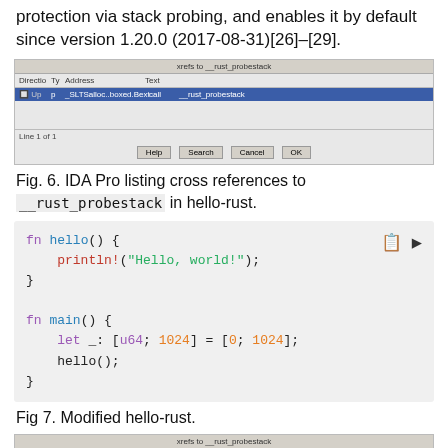protection via stack probing, and enables it by default since version 1.20.0 (2017-08-31)[26]–[29].
[Figure (screenshot): IDA Pro cross references dialog showing xrefs to __rust_probestack. Entry: Up p SLTSalloc.boxed.Reat call __rust_probestack. Line 1 of 1. Buttons: Help, Search, Cancel, OK.]
Fig. 6. IDA Pro listing cross references to __rust_probestack in hello-rust.
[Figure (screenshot): Code block showing Rust source: fn hello() { println!("Hello, world!"); } fn main() { let _: [u64; 1024] = [0; 1024]; hello(); }]
Fig 7. Modified hello-rust.
[Figure (screenshot): IDA Pro cross references dialog showing xrefs to __rust_probestack (bottom, partially visible).]